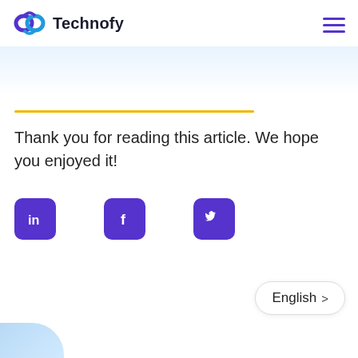Technofy
Thank you for reading this article. We hope you enjoyed it!
[Figure (infographic): Social share icons: LinkedIn, Facebook, Twitter — purple rounded square buttons]
English >